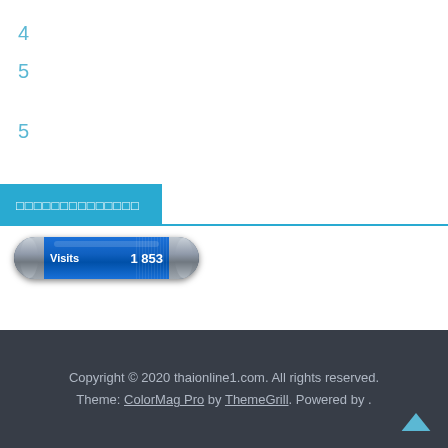4
5
5
□□□□□□□□□□□□□□
[Figure (other): Visits counter widget showing 1 853 visits]
Copyright © 2020 thaionline1.com. All rights reserved. Theme: ColorMag Pro by ThemeGrill. Powered by .